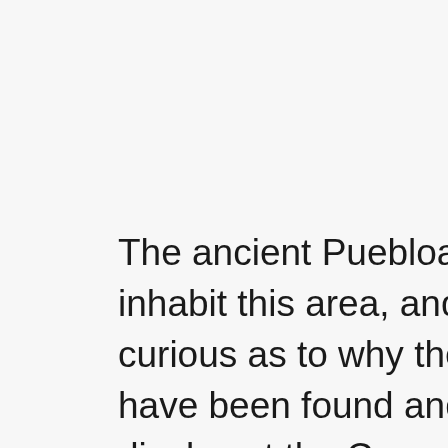The ancient Puebloans were the first to inhabit this area, and scientists are still curious as to why they left. Many artifacts have been found and you can see them on display at the Canyon of the Ancients Museum. After the Puebloans left, two Spanish priests are to thank for the name “Dolores”, as they named the river while looking for routes to their mission sites.
Dolores was settled in 1891 when the Rio Grande Railway was established. Many people up and moved from nearby to settle in this new town. The railroad went through